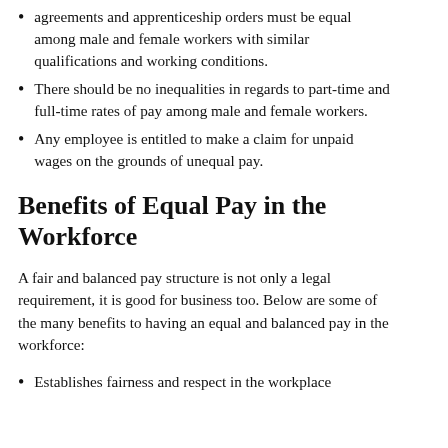agreements and apprenticeship orders must be equal among male and female workers with similar qualifications and working conditions.
There should be no inequalities in regards to part-time and full-time rates of pay among male and female workers.
Any employee is entitled to make a claim for unpaid wages on the grounds of unequal pay.
Benefits of Equal Pay in the Workforce
A fair and balanced pay structure is not only a legal requirement, it is good for business too. Below are some of the many benefits to having an equal and balanced pay in the workforce:
Establishes fairness and respect in the workplace